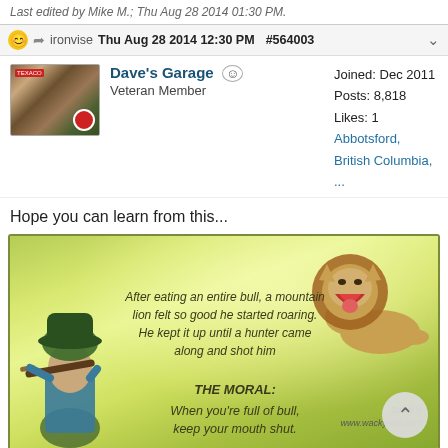Last edited by Mike M.; Thu Aug 28 2014 01:30 PM.
ironvise  Thu Aug 28 2014 12:30 PM  #564003
Dave's Garage  Veteran Member  Joined: Dec 2011  Posts: 8,818  Likes: 1  Abbotsford, British Columbia, ...
Hope you can learn from this...
[Figure (illustration): Humorous motivational image with green nature background. Left: illustrated old hunter with rifle. Right: illustrated roaring lion. Center text in italic: 'After eating an entire bull, a mountain lion felt so good he started roaring. He kept it up until a hunter came along and shot him. THE MORAL: When you're full of bull, keep your mouth shut.' Watermark: 'Sandi V www.wackywits.com']